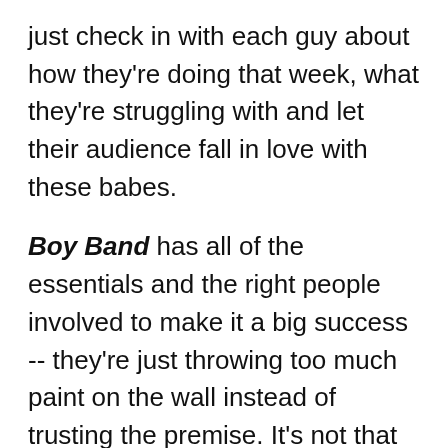just check in with each guy about how they're doing that week, what they're struggling with and let their audience fall in love with these babes.
Boy Band has all of the essentials and the right people involved to make it a big success -- they're just throwing too much paint on the wall instead of trusting the premise. It's not that people aren't interested in building a boy band, because we definitely are. It's just that the show isn't giving its milliennial target audience a chance to get involved, and they're not serving up what they want, you know, the boy bands, when they do. So quit playing games with our hearts, Boy Band, and say